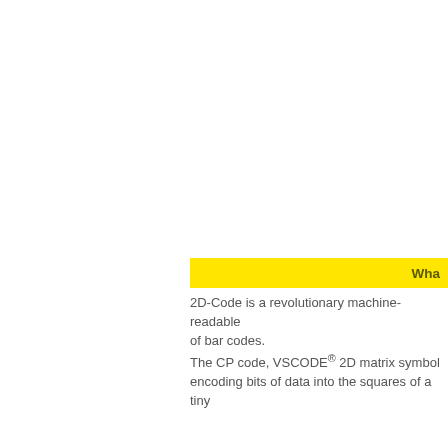Wha
2D-Code is a revolutionary machine-readable of bar codes. The CP code, VSCODE® 2D matrix symbol encoding bits of data into the squares of a tiny